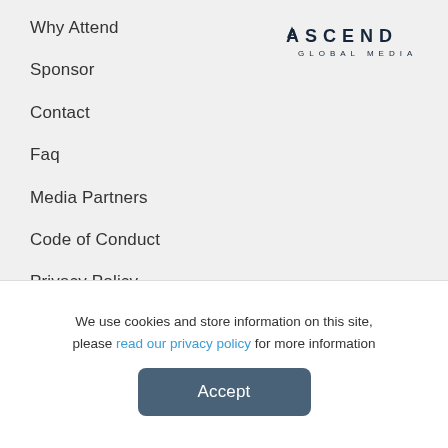[Figure (logo): Ascend Global Media logo with stylized text]
Why Attend
Sponsor
Contact
Faq
Media Partners
Code of Conduct
Privacy Policy
Terms and Conditions
We use cookies and store information on this site, please read our privacy policy for more information
Accept